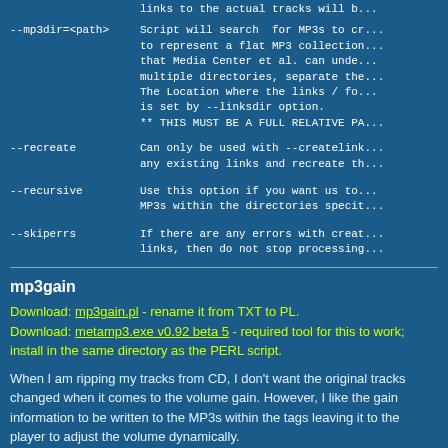links to the actual tracks will b...
--mp3dir=<path>    Script will search for MPs to cr... to represent a flat MP3 collection... that Media Center et al. can unde... multiple directories, separate the... The Location where the links / fo... is set by --linksdir option. ** THIS MUST BE A FULL RELATIVE PA...
--recreate    Can only be used with --createlink... any existing links and recreate th...
--recursive    Use this option if you want us to... MPs within the directories speci...
--skiperrs    If there are any errors with crea... links, then do not stop processing...
mp3gain
Download: mp3gain.pl - rename it from TXT to PL.
Download: metamp3.exe v0.92 beta 5 - required tool for this to work; install in the same directory as the PERL script.
When I am ripping my tracks from CD, I don't want the original tracks changed when it comes to the volume gain. However, I like the gain information to be written to the MPs within the tags leaving it to the player to adjust the volume dynamically.